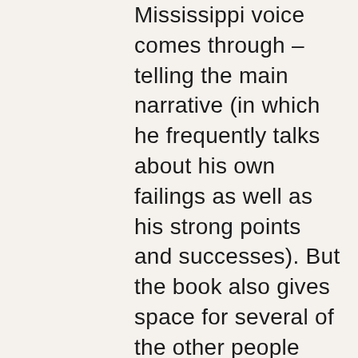Mississippi voice comes through – telling the main narrative (in which he frequently talks about his own failings as well as his strong points and successes). But the book also gives space for several of the other people involved in his career, including the aforementioned Fields, who are given what appears to be freedom to talk about the bad side of Forbert as well as the good. (At one point Forbert just fired his whole entourage, without much explanation, including Fields – and it was for good. Oh, and he goes on doing the same with his managers for